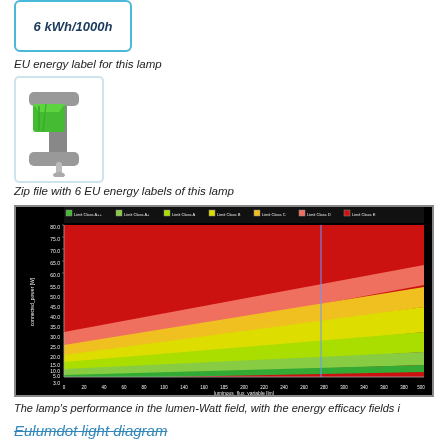[Figure (illustration): EU energy label showing 6 kWh/1000h in a blue-bordered box]
EU energy label for this lamp
[Figure (illustration): Zip file icon showing a green block in a grey C-clamp]
Zip file with 6 EU energy labels of this lamp
[Figure (area-chart): Area chart showing connected_power [W] vs luminous_flux_variable [lm] with colored bands for Limit Class A++, A+, A, B, C, D, E from green to red]
The lamp's performance in the lumen-Watt field, with the energy efficacy fields i
Eulumdot light diagram